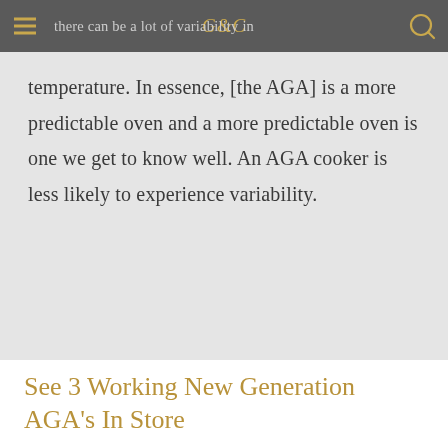there can be a lot of variability in
temperature. In essence, [the AGA] is a more predictable oven and a more predictable oven is one we get to know well. An AGA cooker is less likely to experience variability.
See 3 Working New Generation AGA's In Store
On display at our Newark showroom